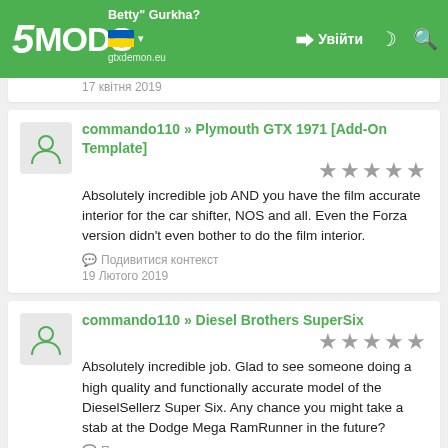5MODS - Увійти
17 квітня 2019
commando110 » Plymouth GTX 1971 [Add-On Template]
Absolutely incredible job AND you have the film accurate interior for the car shifter, NOS and all. Even the Forza version didn't even bother to do the film interior.
Подивитися контекст
19 Лютого 2019
commando110 » Diesel Brothers SuperSix
Absolutely incredible job. Glad to see someone doing a high quality and functionally accurate model of the DieselSellerz Super Six. Any chance you might take a stab at the Dodge Mega RamRunner in the future?
Подивитися контекст